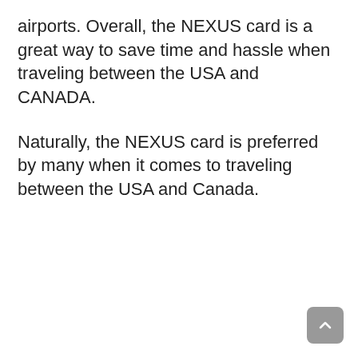airports. Overall, the NEXUS card is a great way to save time and hassle when traveling between the USA and CANADA.
Naturally, the NEXUS card is preferred by many when it comes to traveling between the USA and Canada.